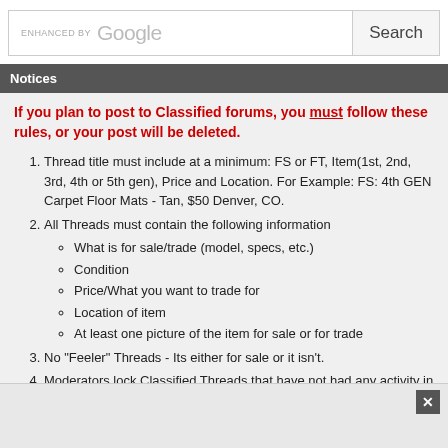[Figure (screenshot): Google search bar with 'ENHANCED BY Google' text and a Search button]
Notices
If you plan to post to Classified forums, you must follow these rules, or your post will be deleted.
Thread title must include at a minimum: FS or FT, Item(1st, 2nd, 3rd, 4th or 5th gen), Price and Location. For Example: FS: 4th GEN Carpet Floor Mats - Tan, $50 Denver, CO.
All Threads must contain the following information
What is for sale/trade (model, specs, etc.)
Condition
Price/What you want to trade for
Location of item
At least one picture of the item for sale or for trade
No "Feeler" Threads - Its either for sale or it isn't.
Moderators lock Classified Threads that have not had any activity in 90 days or when the part is announced SOLD.
Threads not complying with the rules will be deleted without notice.